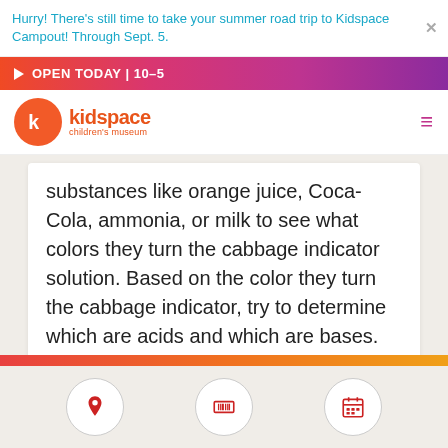Hurry! There's still time to take your summer road trip to Kidspace Campout! Through Sept. 5.
OPEN TODAY | 10-5
[Figure (logo): Kidspace Children's Museum logo — orange circle with letter k, orange text reading 'kidspace children's museum']
substances like orange juice, Coca-Cola, ammonia, or milk to see what colors they turn the cabbage indicator solution. Based on the color they turn the cabbage indicator, try to determine which are acids and which are bases.
[Figure (infographic): Three circular icon buttons at page footer: location pin icon, ticket/barcode icon, calendar icon — all in red on white circles with grey borders]